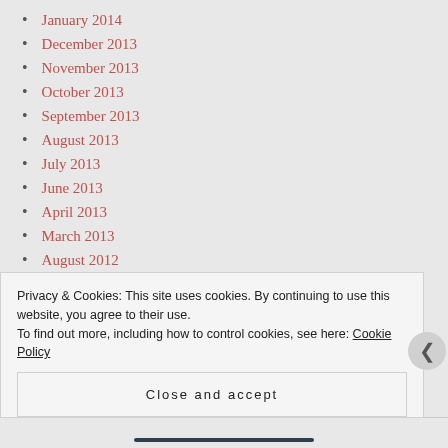January 2014
December 2013
November 2013
October 2013
September 2013
August 2013
July 2013
June 2013
April 2013
March 2013
August 2012
July 2012
Privacy & Cookies: This site uses cookies. By continuing to use this website, you agree to their use.
To find out more, including how to control cookies, see here: Cookie Policy
Close and accept